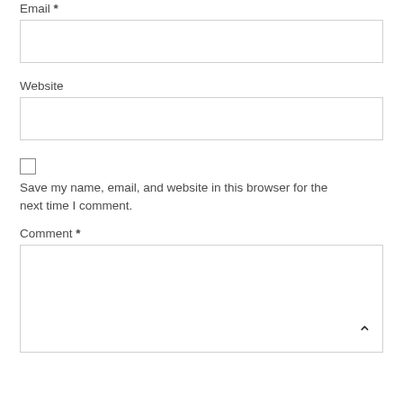Email *
[Figure (other): Empty text input box for Email field]
Website
[Figure (other): Empty text input box for Website field]
[Figure (other): Checkbox (unchecked)]
Save my name, email, and website in this browser for the next time I comment.
Comment *
[Figure (other): Large empty textarea for Comment field with a caret/up-arrow icon in bottom right corner]